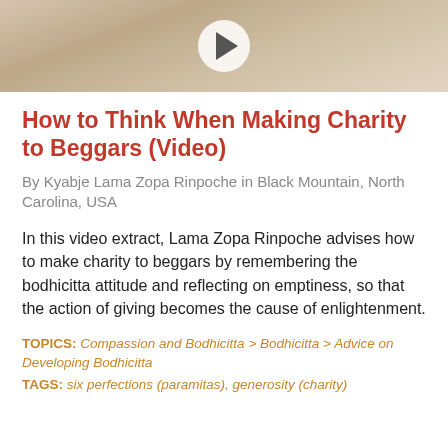[Figure (screenshot): Video thumbnail with a play button circle overlay on a blurred background image]
How to Think When Making Charity to Beggars (Video)
By Kyabje Lama Zopa Rinpoche in Black Mountain, North Carolina, USA
In this video extract, Lama Zopa Rinpoche advises how to make charity to beggars by remembering the bodhicitta attitude and reflecting on emptiness, so that the action of giving becomes the cause of enlightenment.
TOPICS: Compassion and Bodhicitta > Bodhicitta > Advice on Developing Bodhicitta
TAGS: six perfections (paramitas), generosity (charity)